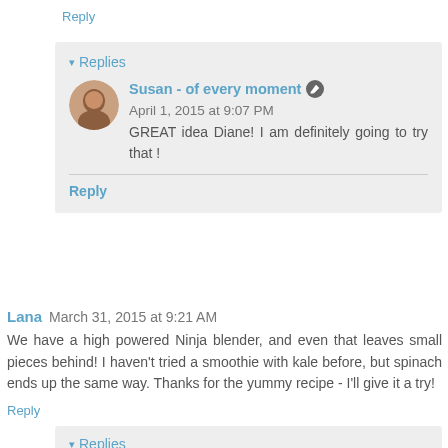Reply
▾ Replies
Susan - of every moment  April 1, 2015 at 9:07 PM
GREAT idea Diane! I am definitely going to try that !
Reply
Lana  March 31, 2015 at 9:21 AM
We have a high powered Ninja blender, and even that leaves small pieces behind! I haven't tried a smoothie with kale before, but spinach ends up the same way. Thanks for the yummy recipe - I'll give it a try!
Reply
▾ Replies